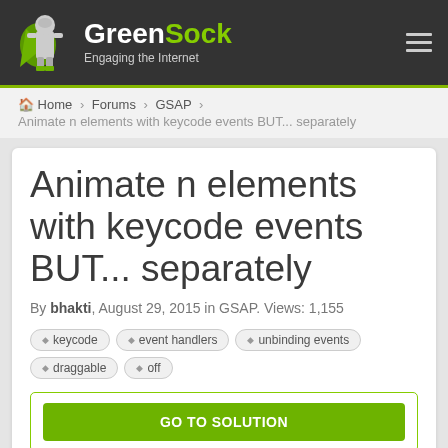GreenSock — Engaging the Internet
Home > Forums > GSAP >
Animate n elements with keycode events BUT... separately
Animate n elements with keycode events BUT... separately
By bhakti, August 29, 2015 in GSAP. Views: 1,155
keycode
event handlers
unbinding events
draggable
off
GO TO SOLUTION